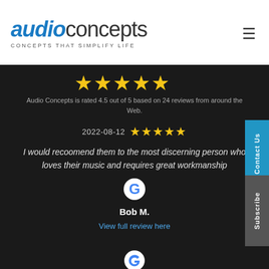[Figure (logo): Audio Concepts logo with blue italic 'audio' text, regular 'concepts' text, dots above the 'i', and tagline 'CONCEPTS THAT SIMPLIFY LIFE']
Audio Concepts is rated 4.5 out of 5 based on 24 reviews from around the Web.
2022-08-12 ★★★★★
I would recoomend them to the most discerning person who loves their music and requires great workmanship
[Figure (logo): Google G logo multicolor]
Bob M.
View full review here